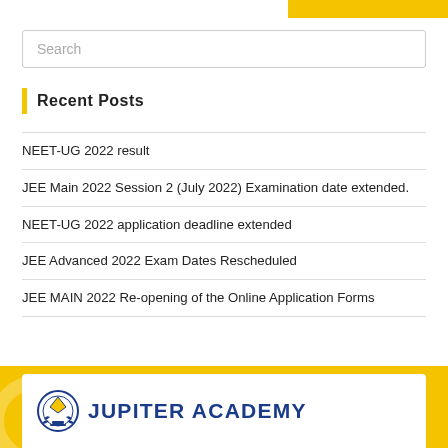Search
Recent Posts
NEET-UG 2022 result
JEE Main 2022 Session 2 (July 2022) Examination date extended.
NEET-UG 2022 application deadline extended
JEE Advanced 2022 Exam Dates Rescheduled
JEE MAIN 2022 Re-opening of the Online Application Forms
[Figure (logo): Jupiter Academy logo with emblem and bold blue text on white background within a yellow banner]